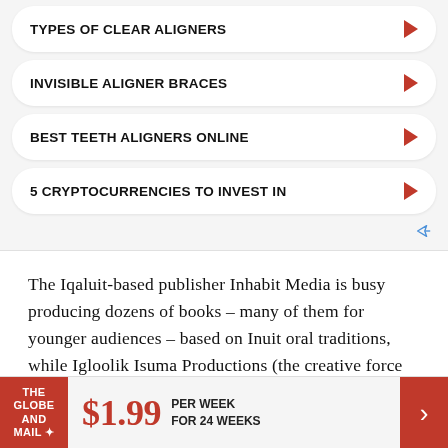TYPES OF CLEAR ALIGNERS
INVISIBLE ALIGNER BRACES
BEST TEETH ALIGNERS ONLINE
5 CRYPTOCURRENCIES TO INVEST IN
The Iqaluit-based publisher Inhabit Media is busy producing dozens of books – many of them for younger audiences – based on Inuit oral traditions, while Igloolik Isuma Productions (the creative force behind Atanarjuat: The Fast Runner) continues to
THE GLOBE AND MAIL  $1.99 PER WEEK FOR 24 WEEKS